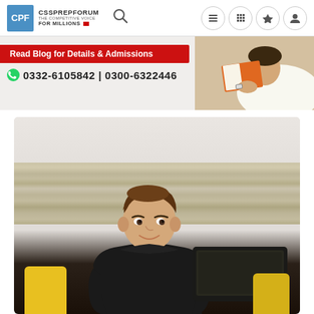[Figure (screenshot): CSS Prep Forum website header with logo (CPF), site name CSSPREPFORUM THE COMPETITIVE VOICE FOR MILLIONS, search icon, and navigation icons (list, grid, crown, user)]
[Figure (infographic): Red banner with text 'Read Blog for Details & Admissions' and phone numbers '0332-6105842 | 0300-6322446' with WhatsApp icon, overlaid on photo of person reading a book]
[Figure (photo): Young man in black hoodie smiling while using laptop, sitting on bed with yellow cushions against wooden headboard]